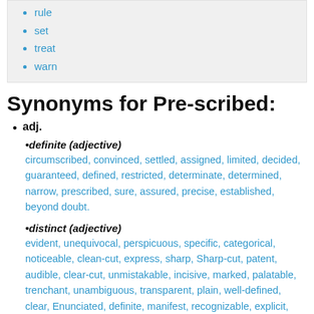rule
set
treat
warn
Synonyms for Pre-scribed:
adj.
•definite (adjective)
circumscribed, convinced, settled, assigned, limited, decided, guaranteed, defined, restricted, determinate, determined, narrow, prescribed, sure, assured, precise, established, beyond doubt.
•distinct (adjective)
evident, unequivocal, perspicuous, specific, categorical, noticeable, clean-cut, express, sharp, Sharp-cut, patent, audible, clear-cut, unmistakable, incisive, marked, palatable, trenchant, unambiguous, transparent, plain, well-defined, clear, Enunciated, definite, manifest, recognizable, explicit, lucid.